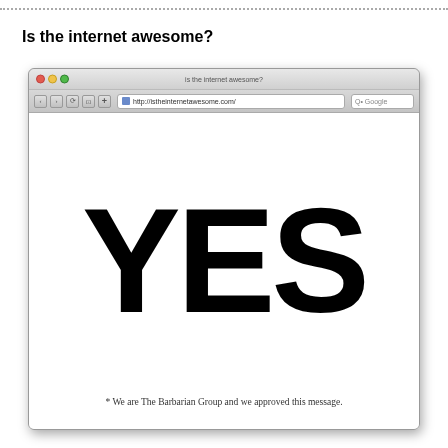...............................................................................................................
Is the internet awesome?
[Figure (screenshot): Screenshot of a web browser (Safari/Mac OS X style) showing the website istheinternetawesome.com. The browser chrome shows traffic lights (red, yellow, green), navigation buttons, and an address bar with 'http://istheinternetawesome.com/'. The webpage content shows the large bold word 'YES' centered on a white page, with a caption below reading '* We are The Barbarian Group and we approved this message.']